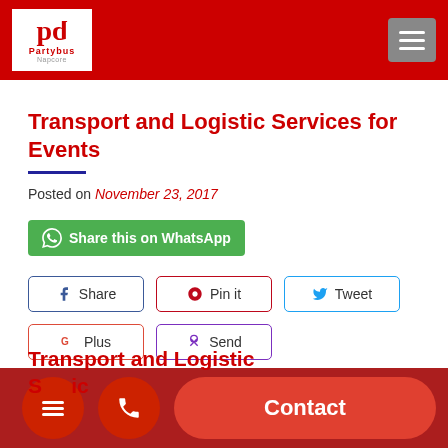Partybus Napcore
Transport and Logistic Services for Events
Posted on November 23, 2017
Share this on WhatsApp
Share  Pin it  Tweet  Plus  Send
Transport and Logistic Services